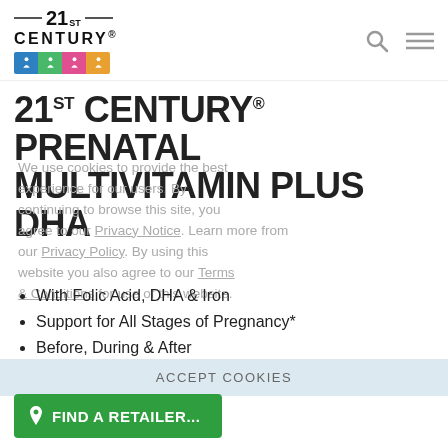[Figure (logo): 21st Century brand logo with colored people strip]
21ST CENTURY® PRENATAL MULTIVITAMIN PLUS DHA
With Folic Acid, DHA & Iron
Support for All Stages of Pregnancy*
Before, During & After
AVAILABLE SIZES: 60+60 Tablet/Softgel
ITEM 27175
ACCEPT COOKIES
FIND A RETAILER...